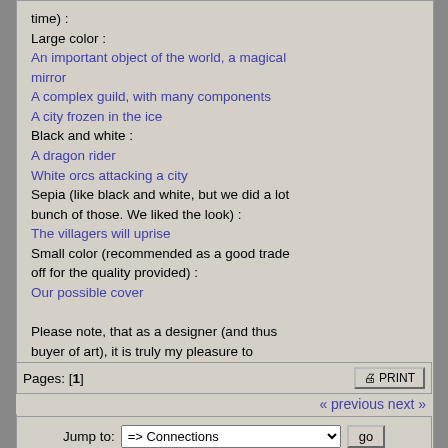time) :
Large color :
An important object of the world, a magical mirror
A complex guild, with many components
A city frozen in the ice
Black and white :
A dragon rider
White orcs attacking a city
Sepia (like black and white, but we did a lot bunch of those. We liked the look) :
The villagers will uprise
Small color (recommended as a good trade off for the quality provided) :
Our possible cover
Please note, that as a designer (and thus buyer of art), it is truly my pleasure to encourage and promote the work of Greg. It has been a real pleasure to work with him.
Logged
Avalanche
Pages: [1]
« previous next »
Jump to: => Connections  go